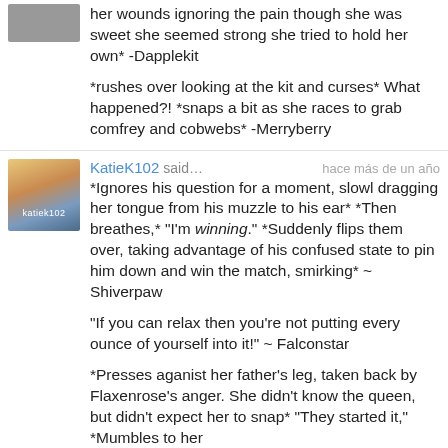her wounds ignoring the pain though she was sweet she seemed strong she tried to hold her own* -Dapplekit
*rushes over looking at the kit and curses* What happened?! *snaps a bit as she races to grab comfrey and cobwebs* -Merryberry
KatieK102 said… hace más de un año
*Ignores his question for a moment, slowl dragging her tongue from his muzzle to his ear* *Then breathes,* "I'm winning." *Suddenly flips them over, taking advantage of his confused state to pin him down and win the match, smirking* ~ Shiverpaw
"If you can relax then you're not putting every ounce of yourself into it!" ~ Falconstar
*Presses aganist her father's leg, taken back by Flaxenrose's anger. She didn't know the queen, but didn't expect her to snap* "They started it," *Mumbles to her father* ~Shiverpaw